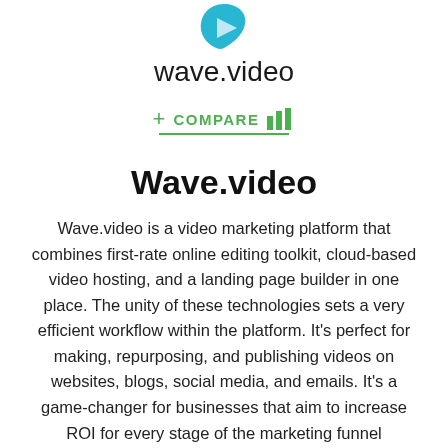[Figure (logo): Wave.video logo: teal/cyan teardrop/leaf shape icon above the text 'wave.video' in dark gray]
+ COMPARE [bar chart icon]
Wave.video
Wave.video is a video marketing platform that combines first-rate online editing toolkit, cloud-based video hosting, and a landing page builder in one place. The unity of these technologies sets a very efficient workflow within the platform. It's perfect for making, repurposing, and publishing videos on websites, blogs, social media, and emails. It's a game-changer for businesses that aim to increase ROI for every stage of the marketing funnel